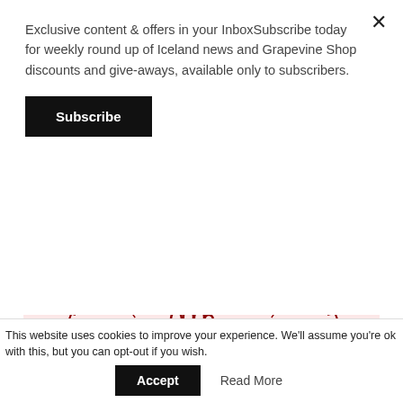Exclusive content & offers in your InboxSubscribe today for weekly round up of Iceland news and Grapevine Shop discounts and give-aways, available only to subscribers.
Subscribe
[Figure (illustration): Illustration of a baseball with red stitching. In the center circle is a hand drawn in dark red line art showing a raised open palm (high five gesture), with motion lines above fingers. The ball is split into three visible segments by curved dotted lines. Background is pale pink/light red.]
The Double High Five
““
This website uses cookies to improve your experience. We'll assume you're ok with this, but you can opt-out if you wish.
Accept
Read More